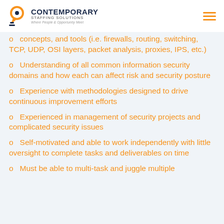Contemporary Staffing Solutions — Where People & Opportunity Meet
o  concepts, and tools (i.e. firewalls, routing, switching, TCP, UDP, OSI layers, packet analysis, proxies, IPS, etc.)
o  Understanding of all common information security domains and how each can affect risk and security posture
o  Experience with methodologies designed to drive continuous improvement efforts
o  Experienced in management of security projects and complicated security issues
o  Self-motivated and able to work independently with little oversight to complete tasks and deliverables on time
o  Must be able to multi-task and juggle multiple